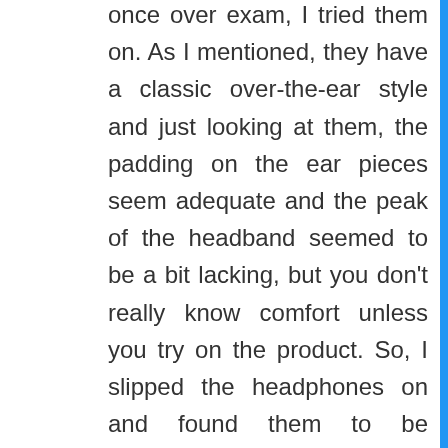once over exam, I tried them on. As I mentioned, they have a classic over-the-ear style and just looking at them, the padding on the ear pieces seem adequate and the peak of the headband seemed to be a bit lacking, but you don't really know comfort unless you try on the product. So, I slipped the headphones on and found them to be exquisitely comfortable. Once I gave the headphones a thorough once-over exam, I tried them on. As I mentioned, they have a classic over-the-ear style and just looking at them, the padding on the ear pieces seem adequate and the peak of the headband